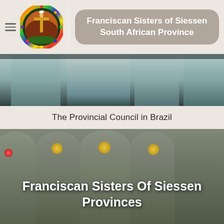Franciscan Sisters of Siessen South African Province
[Figure (photo): Photo of people at The Provincial Council in Brazil, showing figures in light blue clothing/habits from waist down]
The Provincial Council in Brazil
[Figure (photo): Group photo of Franciscan Sisters of Siessen in gray habits with gold emblem decorations]
Franciscan Sisters Of Siessen Provinces